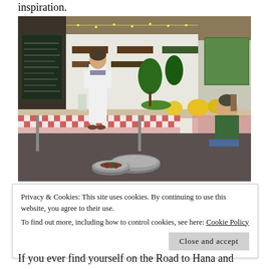inspiration.
[Figure (photo): Indoor farm stand or market booth with a woman standing behind a long table covered with red-and-white checkered tablecloths, displaying fruits and produce. A seated woman is visible at the right. Metal bowls on the floor contain olives or small fruits. Plants and signs visible in background.]
Privacy & Cookies: This site uses cookies. By continuing to use this website, you agree to their use.
To find out more, including how to control cookies, see here: Cookie Policy
If you ever find yourself on the Road to Hana and